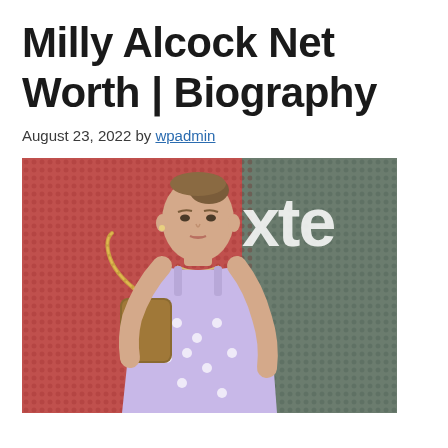Milly Alcock Net Worth | Biography
August 23, 2022 by wpadmin
[Figure (photo): Photo of Milly Alcock wearing a light purple floral spaghetti-strap dress and carrying a gold chain bag, posing in front of a red and gray dotted backdrop with partial text 'xte' visible.]